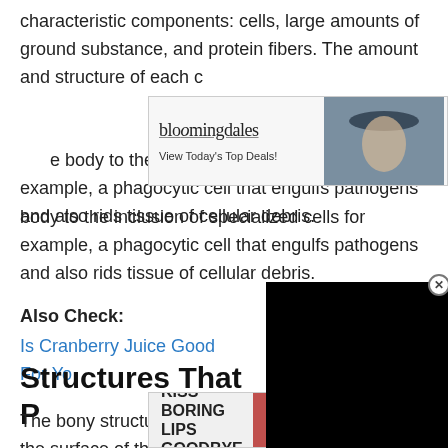characteristic components: cells, large amounts of ground substance, and protein fibers. The amount and structure of each component determines the properties of the connective tissue, from the ground substance in areolar connective tissue throughout the body to the inclusion of specialized cells for example, a phagocytic cell that engulfs pathogens and also rids tissue of cellular debris.
[Figure (screenshot): Bloomingdale's advertisement banner with logo, 'View Today's Top Deals!' text, model photo, and 'SHOP NOW >' button]
Also Check:
Is Cranberry Juice Good For You
[Figure (screenshot): Black video player popup overlay with close (X) button]
Structures That Pr
The bony structures of the orbit protrude beyond the surface of the eye. They protect the eye while allowing it to move freely
[Figure (screenshot): Macy's advertisement banner: 'KISS BORING LIPS GOODBYE' with model photo, SHOP NOW button and Macy's logo]